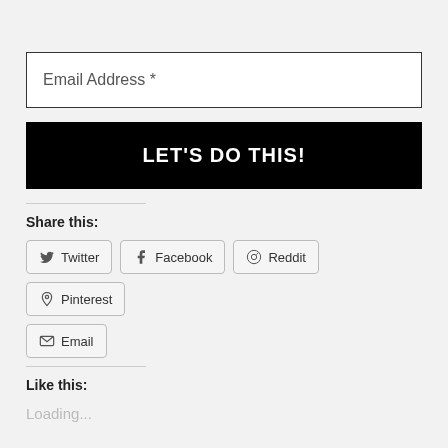Email Address *
LET'S DO THIS!
Share this:
Twitter
Facebook
Reddit
Pinterest
Email
Like this:
Loading...